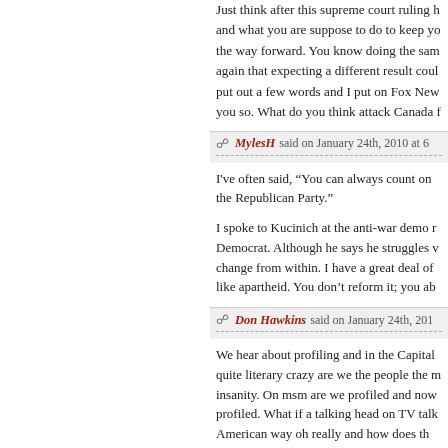Just think after this supreme court ruling h and what you are suppose to do to keep yo the way forward. You know doing the sam again that expecting a different result coul put out a few words and I put on Fox New you so. What do you think attack Canada f
MylesH said on January 24th, 2010 at 6
I've often said, "You can always count on the Republican Party."
I spoke to Kucinich at the anti-war demo r Democrat. Although he says he struggles v change from within. I have a great deal of like apartheid. You don't reform it; you ab
Don Hawkins said on January 24th, 201
We hear about profiling and in the Capital quite literary crazy are we the people the m insanity. On msm are we profiled and now profiled. What if a talking head on TV talk American way oh really and how does th